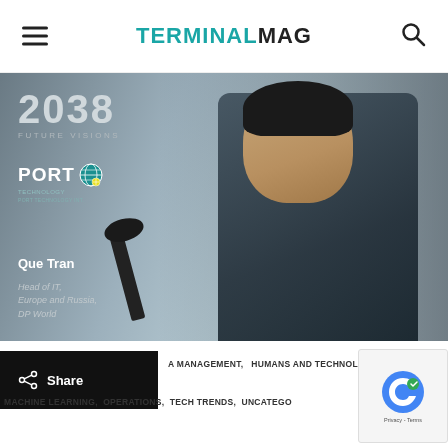TERMINALMAG
[Figure (photo): Photo of Que Tran, Head of IT, Europe and Russia, DP World, speaking at a podium. Overlaid text shows '2038 FUTURE VISIONS', Port Technology logo, name and title.]
Share
A MANAGEMENT,   HUMANS AND TECHNOLOGY,   MACHINE LEARNING,   OPERATIONS,   TECH TRENDS,   UNCATEGO...